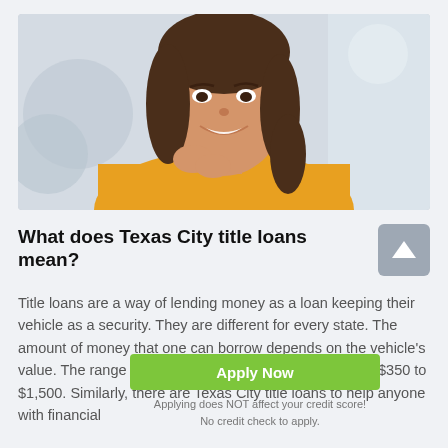[Figure (photo): Smiling young woman with brown hair, wearing a yellow/orange top, posed with hands near face against a blurred light background.]
What does Texas City title loans mean?
Title loans are a way of lending money as a loan keeping their vehicle as a security. They are different for every state. The amount of money that one can borrow depends on the vehicle's value. The range of money as a loan via title loans from $350 to $1,500. Similarly, there are Texas City title loans to help anyone with financial
Apply Now
Applying does NOT affect your credit score!
No credit check to apply.